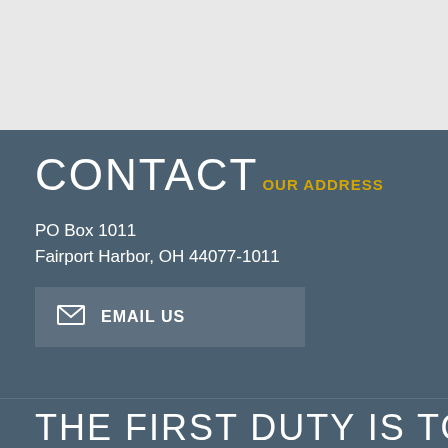CONTACT
OUR ADDRESS
PO Box 1011
Fairport Harbor, OH 44077-1011
EMAIL US
THE FIRST DUTY IS TO